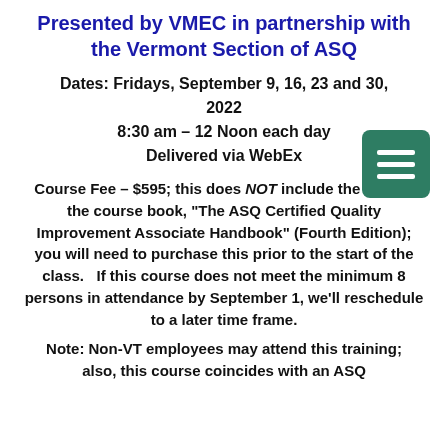Presented by VMEC in partnership with the Vermont Section of ASQ
Dates: Fridays, September 9, 16, 23 and 30, 2022
8:30 am – 12 Noon each day
Delivered via WebEx
[Figure (other): Green square icon with three horizontal white lines (hamburger/menu icon)]
Course Fee – $595; this does NOT include the cost of the course book, "The ASQ Certified Quality Improvement Associate Handbook" (Fourth Edition); you will need to purchase this prior to the start of the class.   If this course does not meet the minimum 8 persons in attendance by September 1, we'll reschedule to a later time frame.
Note: Non-VT employees may attend this training;
also, this course coincides with an ASQ